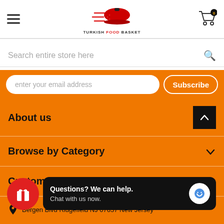[Figure (logo): Turkish Food Basket logo with red circular dish and speed lines, text TURKISH FOOD BASKET below]
[Figure (screenshot): Shopping cart icon with orange badge showing 0]
Search entire store here
enter your email address
Subscribe
About us
Browse by Category
Customer Service
Bergen Blvd Ridgefield NJ 07657 New Jersey
Questions? We can help. Chat with us now.